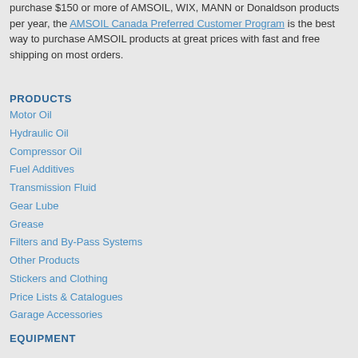purchase $150 or more of AMSOIL, WIX, MANN or Donaldson products per year, the AMSOIL Canada Preferred Customer Program is the best way to purchase AMSOIL products at great prices with fast and free shipping on most orders.
PRODUCTS
Motor Oil
Hydraulic Oil
Compressor Oil
Fuel Additives
Transmission Fluid
Gear Lube
Grease
Filters and By-Pass Systems
Other Products
Stickers and Clothing
Price Lists & Catalogues
Garage Accessories
EQUIPMENT